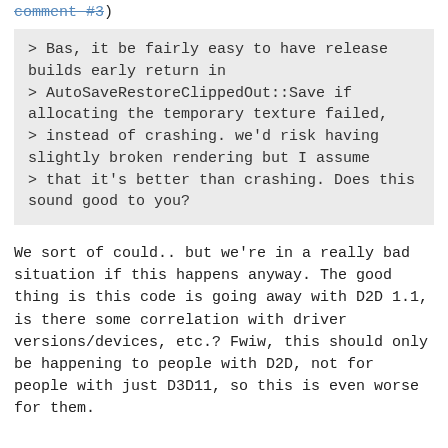comment #3 )
> Bas, it be fairly easy to have release builds early return in
> AutoSaveRestoreClippedOut::Save if allocating the temporary texture failed,
> instead of crashing. we'd risk having slightly broken rendering but I assume
> that it's better than crashing. Does this sound good to you?
We sort of could.. but we're in a really bad situation if this happens anyway. The good thing is this code is going away with D2D 1.1, is there some correlation with driver versions/devices, etc.? Fwiw, this should only be happening to people with D2D, not for people with just D3D11, so this is even worse for them.
(partial bottom line)